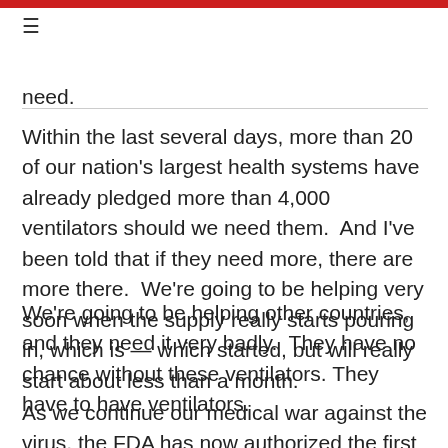≡
need.
Within the last several days, more than 20 of our nation's largest health systems have already pledged more than 4,000 ventilators should we need them.  And I've been told that if they need more, there are more there.  We're going to be helping very soon when the supply really starts pouring in, which is — which started, but will really start about less than a month.
We're going to be helping other countries, and they need it very badly.  They have no chance without these ventilators. They have to have ventilators.
As we continue our medical war against the virus, the FDA has now authorized the first test developed by researchers